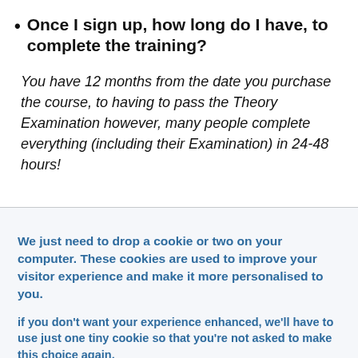Once I sign up, how long do I have, to complete the training?
You have 12 months from the date you purchase the course, to having to pass the Theory Examination however, many people complete everything (including their Examination) in 24-48 hours!
We just need to drop a cookie or two on your computer. These cookies are used to improve your visitor experience and make it more personalised to you.
if you don't want your experience enhanced, we'll have to use just one tiny cookie so that you're not asked to make this choice again.